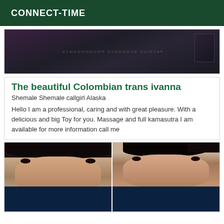CONNECT-TIME
[Figure (photo): Partially visible image showing dark background with mirrored/flipped text overlay and what appears to be a dark fabric item]
The beautiful Colombian trans ivanna
Shemale Shemale callgirl Alaska
Hello I am a professional, caring and with great pleasure. With a delicious and big Toy for you. Massage and full kamasutra I am available for more information call me
[Figure (photo): Two side-by-side photos of a woman with dark hair styled up, wearing makeup with red lipstick, hoop earrings — left photo in blue outfit, right photo in blue outfit against beige background]